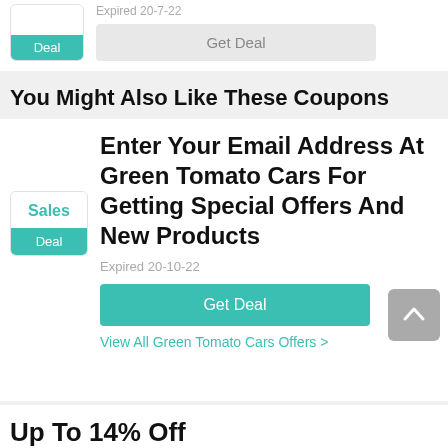Expired 20-7-22
Deal
Get Deal
You Might Also Like These Coupons
Sales
Deal
Enter Your Email Address At Green Tomato Cars For Getting Special Offers And New Products
Expired 20-10-22
Get Deal
View All Green Tomato Cars Offers >
Up To 14% Off